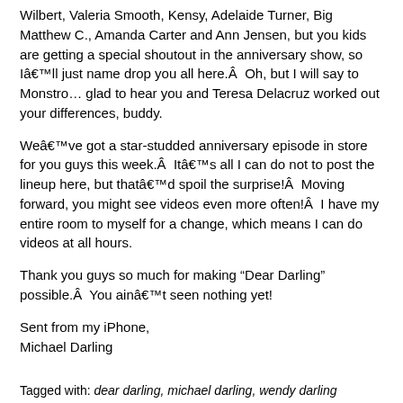Wilbert, Valeria Smooth, Kensy, Adelaide Turner, Big Matthew C., Amanda Carter and Ann Jensen, but you kids are getting a special shoutout in the anniversary show, so Iâll just name drop you all here.Â  Oh, but I will say to Monstro… glad to hear you and Teresa Delacruz worked out your differences, buddy.
Weâve got a star-studded anniversary episode in store for you guys this week.Â  Itâs all I can do not to post the lineup here, but thatâd spoil the surprise!Â  Moving forward, you might see videos even more often!Â  I have my entire room to myself for a change, which means I can do videos at all hours.
Thank you guys so much for making “Dear Darling” possible.Â  You ainât seen nothing yet!
Sent from my iPhone,
Michael Darling
Tagged with: dear darling, michael darling, wendy darling
Posted in Editorials